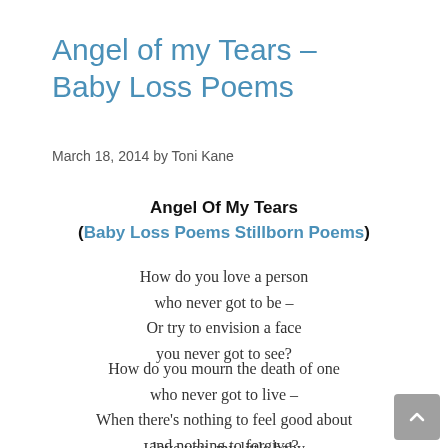Angel of my Tears – Baby Loss Poems
March 18, 2014 by Toni Kane
Angel Of My Tears
(Baby Loss Poems Stillborn Poems)
How do you love a person
who never got to be –
Or try to envision a face
you never got to see?
How do you mourn the death of one
who never got to live –
When there's nothing to feel good about
and nothing to forgive?
I love you, my little baby